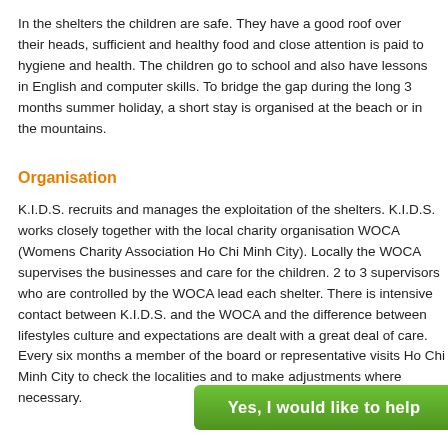In the shelters the children are safe. They have a good roof over their heads, sufficient and healthy food and close attention is paid to hygiene and health. The children go to school and also have lessons in English and computer skills. To bridge the gap during the long 3 months summer holiday, a short stay is organised at the beach or in the mountains.
Organisation
K.I.D.S. recruits and manages the exploitation of the shelters. K.I.D.S. works closely together with the local charity organisation WOCA (Womens Charity Association Ho Chi Minh City). Locally the WOCA supervises the businesses and care for the children. 2 to 3 supervisors who are controlled by the WOCA lead each shelter. There is intensive contact between K.I.D.S. and the WOCA and the difference between lifestyles culture and expectations are dealt with a great deal of care. Every six months a member of the board or representative visits Ho Chi Minh City to check the localities and to make adjustments where necessary.
Yes, I would like to help